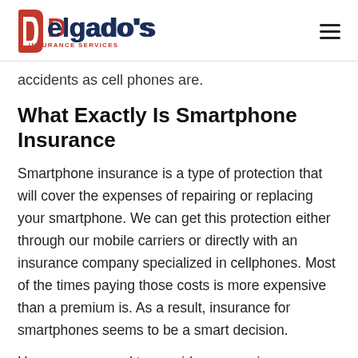Delgado's Insurance Services
accidents as cell phones are.
What Exactly Is Smartphone Insurance
Smartphone insurance is a type of protection that will cover the expenses of repairing or replacing your smartphone. We can get this protection either through our mobile carriers or directly with an insurance company specialized in cellphones. Most of the times paying those costs is more expensive than a premium is. As a result, insurance for smartphones seems to be a smart decision.
However, we need to consider our carrier, premiums,